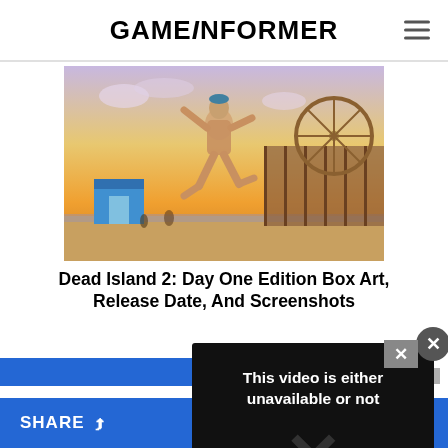GAME INFORMER
[Figure (screenshot): Screenshot of Dead Island 2 showing a zombie character running on a beach boardwalk at sunset with a Ferris wheel in the background]
Dead Island 2: Day One Edition Box Art, Release Date, And Screenshots
[Figure (screenshot): Video error dialog overlay with dark background showing text 'This video is either unavailable or not' with an X watermark and OK button]
SHARE   FOLLOW US